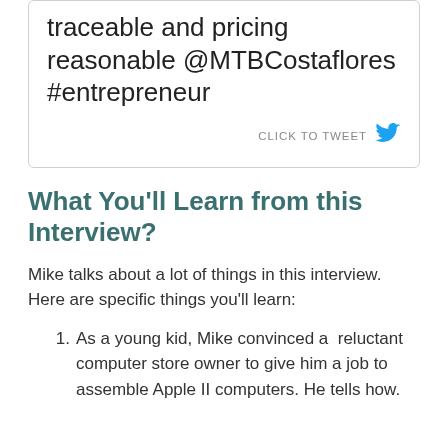traceable and pricing reasonable @MTBCostaflores #entrepreneur
CLICK TO TWEET
What You'll Learn from this Interview?
Mike talks about a lot of things in this interview. Here are specific things you'll learn:
As a young kid, Mike convinced a  reluctant computer store owner to give him a job to assemble Apple II computers. He tells how.